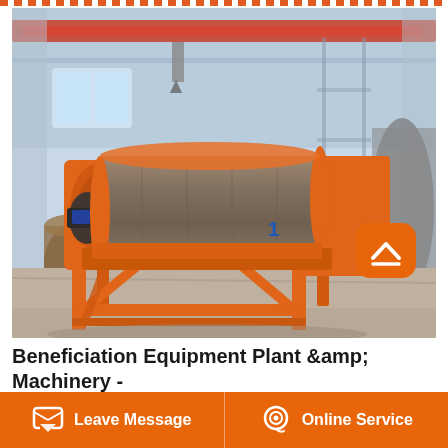[Figure (photo): Industrial magnetic separator / beneficiation equipment with large orange metal frame and cylindrical drum, photographed in a factory/warehouse setting with overhead crane visible.]
Beneficiation Equipment Plant &amp; Machinery - Direct Find
Leave Message | Online Service